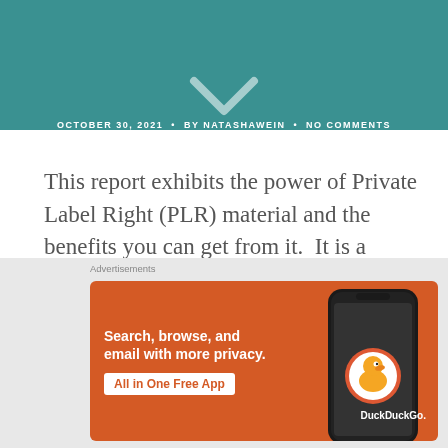OCTOBER 30, 2021 • BY NATASHAWEIN • NO COMMENTS
This report exhibits the power of Private Label Right (PLR) material and the benefits you can get from it.  It is a comprehensive course showing how to become proficient and profitable with PLR products.
[Figure (screenshot): DuckDuckGo advertisement banner with orange background. Text: 'Search, browse, and email with more privacy. All in One Free App'. Shows a phone with DuckDuckGo logo.]